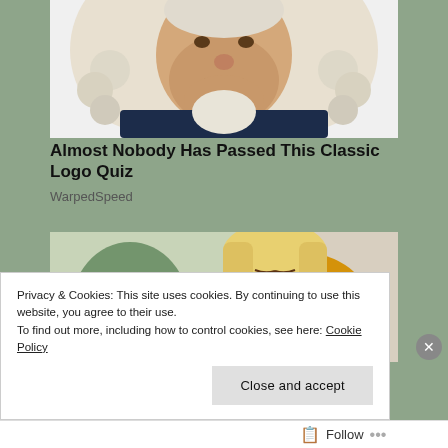[Figure (illustration): Caricature illustration of a historical figure wearing a white powdered wig and dark blue colonial jacket with white cravat, smiling]
Almost Nobody Has Passed This Classic Logo Quiz
WarpedSpeed
[Figure (photo): Photo of a young blonde woman in a yellow sweater looking downward with a concerned expression, with a blurred green plant in the background]
Privacy & Cookies: This site uses cookies. By continuing to use this website, you agree to their use.
To find out more, including how to control cookies, see here: Cookie Policy
Close and accept
Follow